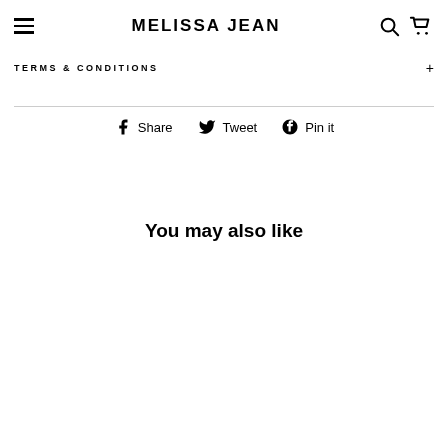MELISSA JEAN
TERMS & CONDITIONS
Share  Tweet  Pin it
You may also like